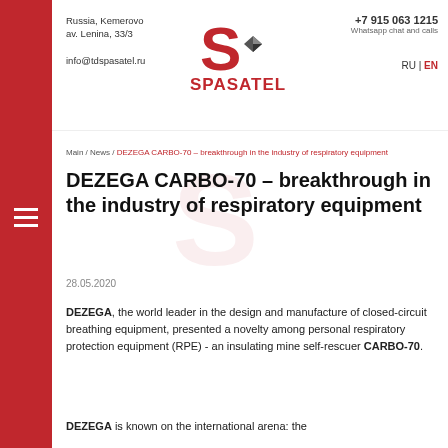Russia, Kemerovo
av. Lenina, 33/3
info@tdspasatel.ru
+7 915 063 1215
Whatsapp chat and calls
RU | EN
[Figure (logo): SPASATEL logo with red S and diamond shape]
Main / News / DEZEGA CARBO-70 – breakthrough in the industry of respiratory equipment
DEZEGA CARBO-70 – breakthrough in the industry of respiratory equipment
28.05.2020
DEZEGA, the world leader in the design and manufacture of closed-circuit breathing equipment, presented a novelty among personal respiratory protection equipment (RPE) - an insulating mine self-rescuer CARBO-70.
DEZEGA is known on the international arena: the